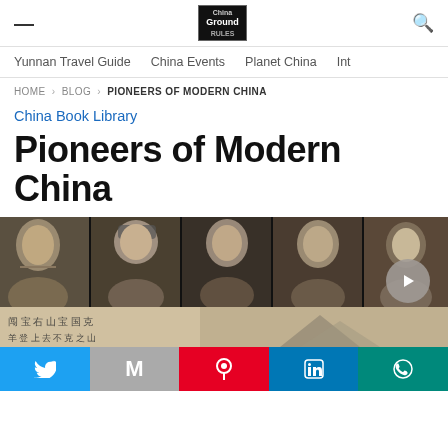Yunnan Travel Guide  China Events  Planet China  Int...
HOME › BLOG › PIONEERS OF MODERN CHINA
China Book Library
Pioneers of Modern China
[Figure (photo): Black and white photo strip of five Chinese historical figures, and below it a sepia image with Chinese calligraphy on the left and a mountain scene on the right. A circular play button is overlaid on the lower right.]
Twitter  Gmail  Pinterest  LinkedIn  WhatsApp